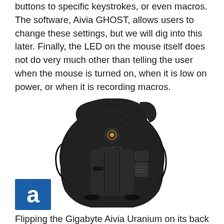buttons to specific keystrokes, or even macros. The software, Aivia GHOST, allows users to change these settings, but we will dig into this later. Finally, the LED on the mouse itself does not do very much other than telling the user when the mouse is turned on, when it is low on power, or when it is recording macros.
[Figure (photo): Bottom view of the Gigabyte Aivia Uranium wireless gaming mouse, showing the underside with optical sensor, battery compartment, and GIGABYTE branding]
[Figure (logo): APH Networks logo — white lowercase letter 'a' on a blue square background]
Flipping the Gigabyte Aivia Uranium on its back lets us see the